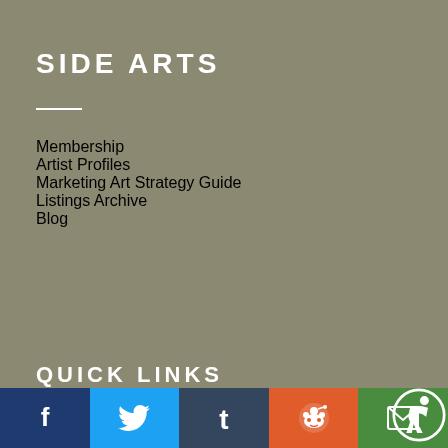SIDE ARTS
Membership
Artist Profiles
Marketing Art Strategy Guide
Listings Archive
Blog
QUICK LINKS
[Figure (other): Social media sharing bar with Facebook, Twitter, Tumblr, Reddit, and Email icons, plus accessibility icon]